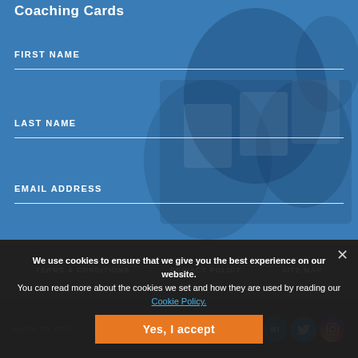Coaching Cards
FIRST NAME
LAST NAME
EMAIL ADDRESS
SUBMIT
TERMS & CONDITIONS   PRIVACY POLICY   SITE MAP
BACK TO TOP
We use cookies to ensure that we give you the best experience on our website. You can read more about the cookies we set and how they are used by reading our Cookie Policy.
Yes, I accept